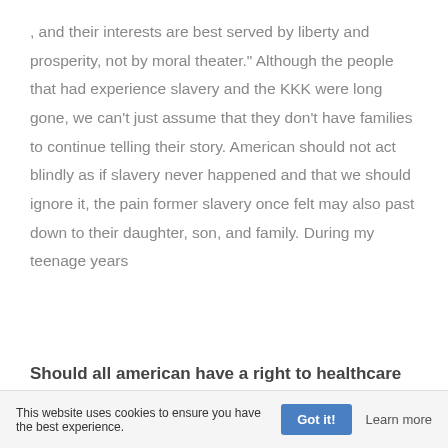, and their interests are best served by liberty and prosperity, not by moral theater." Although the people that had experience slavery and the KKK were long gone, we can't just assume that they don't have families to continue telling their story. American should not act blindly as if slavery never happened and that we should ignore it, the pain former slavery once felt may also past down to their daughter, son, and family. During my teenage years
Should all american have a right to healthcare
This website uses cookies to ensure you have the best experience.